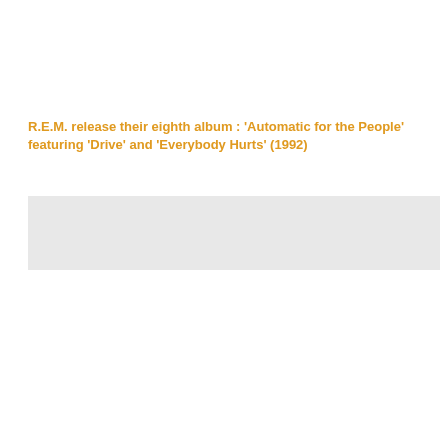R.E.M. release their eighth album : 'Automatic for the People' featuring 'Drive' and 'Everybody Hurts' (1992)
[Figure (other): Gray placeholder rectangle representing an image or media block]
We use cookies on our website to give you the most relevant experience by remembering your preferences and repeat visits. By clicking "ACCEPT ALL", you consent to the use of ALL the cookies. However, you may visit "Cookie Settings" to provide a controlled consent.
Cookie Settings   REJECT ALL   ACCEPT ALL